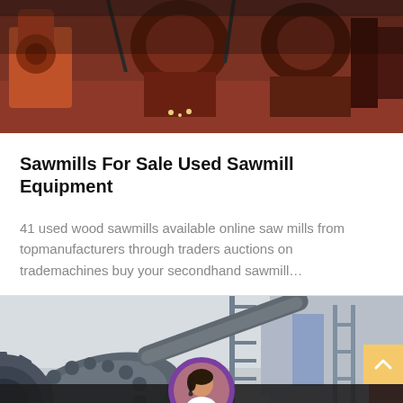[Figure (photo): Industrial sawmill machinery with red equipment in a warehouse setting]
Sawmills For Sale Used Sawmill Equipment
41 used wood sawmills available online saw mills from topmanufacturers through traders auctions on trademachines buy your secondhand sawmill…
[Figure (photo): Heavy industrial ball mill or roller machinery in a factory/warehouse with blue components]
Leave Message
Chat Online